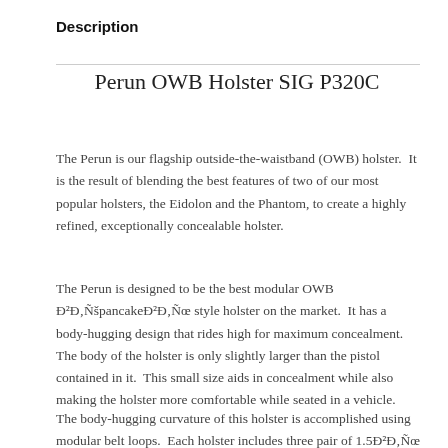Description
Perun OWB Holster SIG P320C
The Perun is our flagship outside-the-waistband (OWB) holster.  It is the result of blending the best features of two of our most popular holsters, the Eidolon and the Phantom, to create a highly refined, exceptionally concealable holster.
The Perun is designed to be the best modular OWB Ð²Ð‚ÑšpancakeÐ²Ð‚Ñœ style holster on the market.  It has a body-hugging design that rides high for maximum concealment.  The body of the holster is only slightly larger than the pistol contained in it.  This small size aids in concealment while also making the holster more comfortable while seated in a vehicle.
The body-hugging curvature of this holster is accomplished using modular belt loops.  Each holster includes three pair of 1.5Ð²Ð‚Ñœ belt loops (LH 10 degree cant, RH 10 degree cant, and